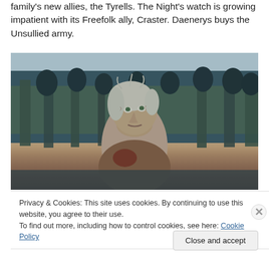family's new allies, the Tyrells. The Night's watch is growing impatient with its Freefolk ally, Craster. Daenerys buys the Unsullied army.
[Figure (photo): A scene from what appears to be Game of Thrones. An older woman with white/silver hair looks upward with an expression of awe or desperation. She is surrounded by medieval-looking figures on wooden ramparts in the background. The color palette is dark teal/grey with earthy browns.]
Privacy & Cookies: This site uses cookies. By continuing to use this website, you agree to their use.
To find out more, including how to control cookies, see here: Cookie Policy